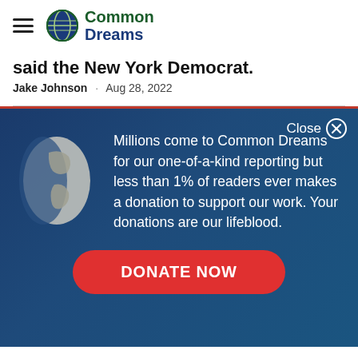Common Dreams
said the New York Democrat.
Jake Johnson · Aug 28, 2022
Millions come to Common Dreams for our one-of-a-kind reporting but less than 1% of readers ever makes a donation to support our work. Your donations are our lifeblood.
DONATE NOW